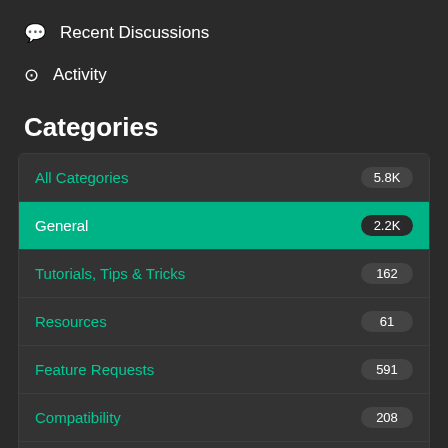💬 Recent Discussions
⊙ Activity
Categories
| Category | Count |
| --- | --- |
| All Categories | 5.8K |
| General | 2.2K |
| Tutorials, Tips & Tricks | 162 |
| Resources | 61 |
| Feature Requests | 591 |
| Compatibility | 208 |
| Support | 2.1K |